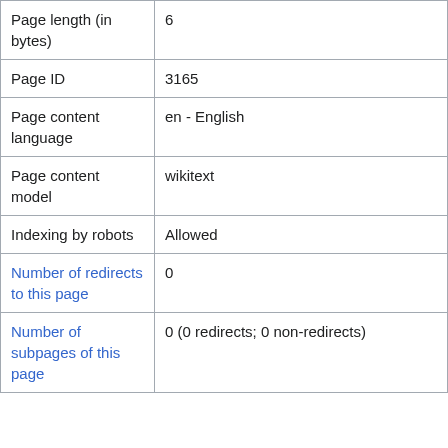| Page length (in bytes) | 6 |
| Page ID | 3165 |
| Page content language | en - English |
| Page content model | wikitext |
| Indexing by robots | Allowed |
| Number of redirects to this page | 0 |
| Number of subpages of this page | 0 (0 redirects; 0 non-redirects) |